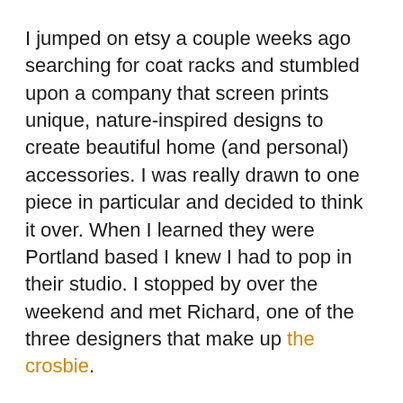I jumped on etsy a couple weeks ago searching for coat racks and stumbled upon a company that screen prints unique, nature-inspired designs to create beautiful home (and personal) accessories. I was really drawn to one piece in particular and decided to think it over. When I learned they were Portland based I knew I had to pop in their studio. I stopped by over the weekend and met Richard, one of the three designers that make up the crosbie.
The piece was even more delightful in person. All bursting with whimsy and fun. Perfect colors. The hooks are welded steel and made by hand.